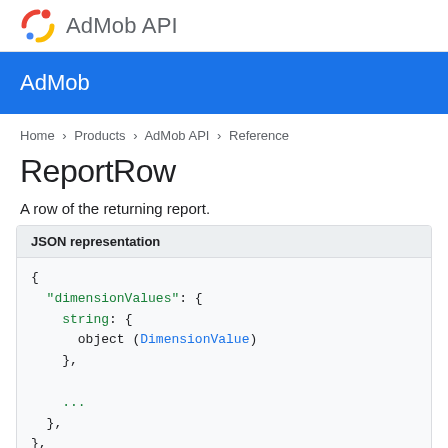AdMob API
AdMob
Home > Products > AdMob API > Reference
ReportRow
A row of the returning report.
JSON representation
{
  "dimensionValues": {
    string: {
      object (DimensionValue)
    },
    ...
  },